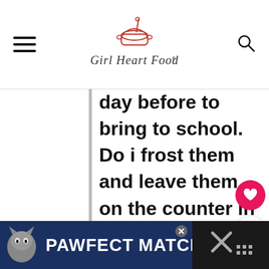Girl Heart Food (logo header with hamburger menu and search icon)
day before to bring to school. Do i frost them and leave them on the counter in a sealed container? I was thinking of warming them up a bit in the oven, will th icing sink into the do
[Figure (infographic): What's Next widget showing Chocolate Coconut Bal... with thumbnail image]
[Figure (infographic): PAWFECT MATCH advertisement banner with cat illustration]